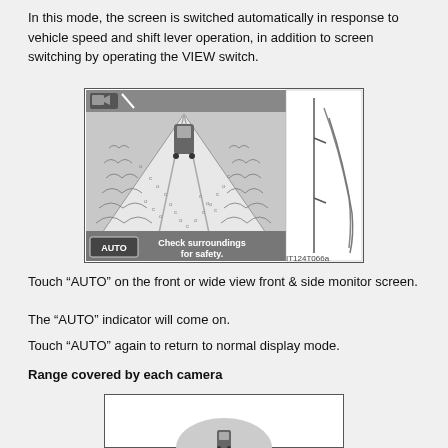In this mode, the screen is switched automatically in response to vehicle speed and shift lever operation, in addition to screen switching by operating the VIEW switch.
[Figure (illustration): Vehicle camera display showing wide front view with surroundings and side view lines. Shows 'Check surroundings for safety.' message and AUTO button. Reference code IT124T066a.]
Touch “AUTO” on the front or wide view front & side monitor screen.
The “AUTO” indicator will come on.
Touch “AUTO” again to return to normal display mode.
Range covered by each camera
[Figure (illustration): Diagram showing the range covered by each camera, with a vehicle top-down view and coverage arcs.]